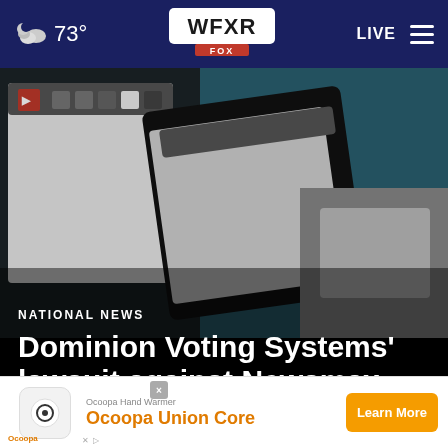73° WFXR FOX LIVE
[Figure (photo): Close-up photo of Dominion voting machine tablet screens showing a software interface with red logo icon and toolbar buttons on a dark background with teal/blue background]
NATIONAL NEWS
Dominion Voting Systems' lawsuit against Newsmax and pro
[Figure (other): Advertisement banner for Ocoopa Hand Warmer product showing Ocoopa Union Core with orange Learn More button]